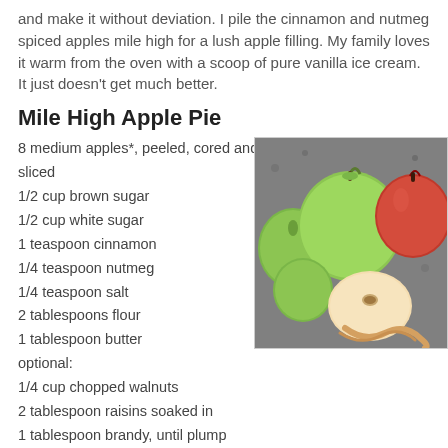and make it without deviation. I pile the cinnamon and nutmeg spiced apples mile high for a lush apple filling. My family loves it warm from the oven with a scoop of pure vanilla ice cream. It just doesn't get much better.
Mile High Apple Pie
8 medium apples*, peeled, cored and sliced
1/2 cup brown sugar
1/2 cup white sugar
1 teaspoon cinnamon
1/4 teaspoon nutmeg
1/4 teaspoon salt
2 tablespoons flour
1 tablespoon butter
optional:
1/4 cup chopped walnuts
2 tablespoon raisins soaked in
1 tablespoon brandy, until plump
[Figure (photo): Photo of several apples on a granite surface — green Granny Smith apples and a red apple, with a peeled apple and apple peel curls in the foreground.]
*I used mainly Granny Smith apples for their firmness and